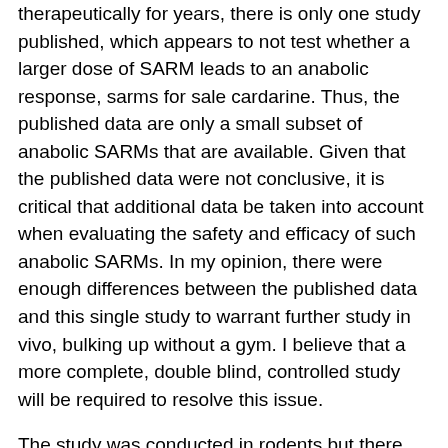therapeutically for years, there is only one study published, which appears to not test whether a larger dose of SARM leads to an anabolic response, sarms for sale cardarine. Thus, the published data are only a small subset of anabolic SARMs that are available. Given that the published data were not conclusive, it is critical that additional data be taken into account when evaluating the safety and efficacy of such anabolic SARMs. In my opinion, there were enough differences between the published data and this single study to warrant further study in vivo, bulking up without a gym. I believe that a more complete, double blind, controlled study will be required to resolve this issue.
The study was conducted in rodents but there should be the same effects in humans as well, injectable sarms uk. One reason why this study was conducted in non-human primates was due to the fact that there is a